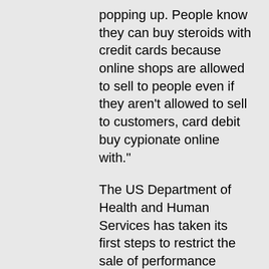popping up. People know they can buy steroids with credit cards because online shops are allowed to sell to people even if they aren't allowed to sell to customers, card debit buy cypionate online with."
The US Department of Health and Human Services has taken its first steps to restrict the sale of performance enhancing substances to minors with the proposed rules, test 400 steroid for sale. But the Department of Commerce, which is now proposing new rules to make it a federal offence to sell any banned substance to anyone under 18, insists they are simply a measure to improve compliance with existing federal laws, buy steroid gear online. The DPA has previously said that the proposed measures will "drive legitimate businesses out of business and hurt those that are providing services that are already illegal but required by law to remain legal". The